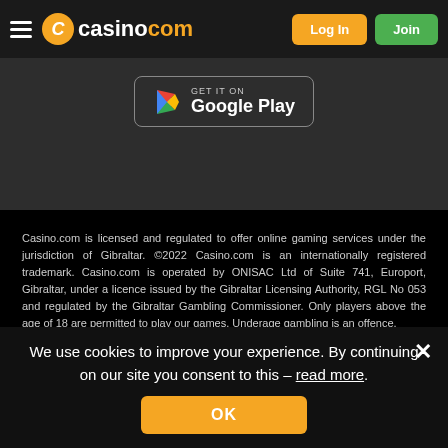casino.com — Log In | Join
[Figure (screenshot): Google Play store badge button with Play icon on dark background]
Casino.com is licensed and regulated to offer online gaming services under the jurisdiction of Gibraltar. ©2022 Casino.com is an internationally registered trademark. Casino.com is operated by ONISAC Ltd of Suite 741, Europort, Gibraltar, under a licence issued by the Gibraltar Licensing Authority, RGL No 053 and regulated by the Gibraltar Gambling Commissioner. Only players above the age of 18 are permitted to play our games. Underage gambling is an offence.
We use cookies to improve your experience. By continuing on our site you consent to this – read more.
OK